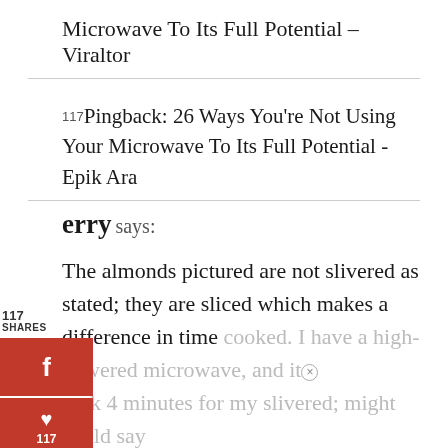Microwave To Its Full Potential – Viraltor
Pingback: 26 Ways You're Not Using Your Microwave To Its Full Potential - Epik Ara
erry says:
The almonds pictured are not slivered as stated; they are sliced which makes a difference in time cooked. I have a high-powered microwave, and it took 4 minutes for my slivered; might could say...